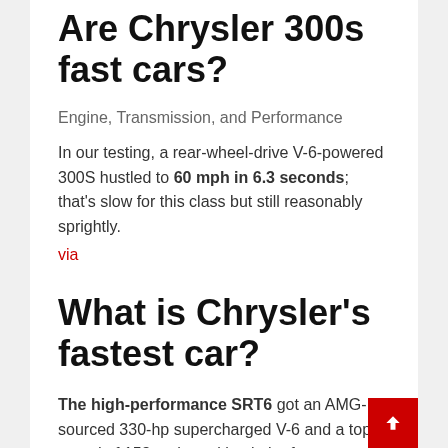Are Chrysler 300s fast cars?
Engine, Transmission, and Performance
In our testing, a rear-wheel-drive V-6-powered 300S hustled to 60 mph in 6.3 seconds; that's slow for this class but still reasonably sprightly. via
What is Chrysler's fastest car?
The high-performance SRT6 got an AMG-sourced 330-hp supercharged V-6 and a top speed of 158 mph, making it the fastest car